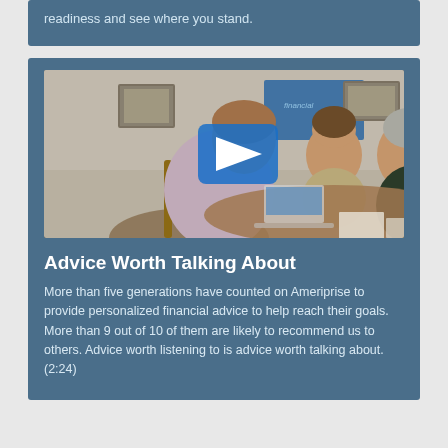readiness and see where you stand.
[Figure (photo): Video thumbnail showing a financial advisor meeting with a couple at a table, with a play button overlay indicating a video titled 'Advice Worth Talking About'. A screen with the word 'financial' is visible in the background.]
Advice Worth Talking About
More than five generations have counted on Ameriprise to provide personalized financial advice to help reach their goals. More than 9 out of 10 of them are likely to recommend us to others. Advice worth listening to is advice worth talking about. (2:24)